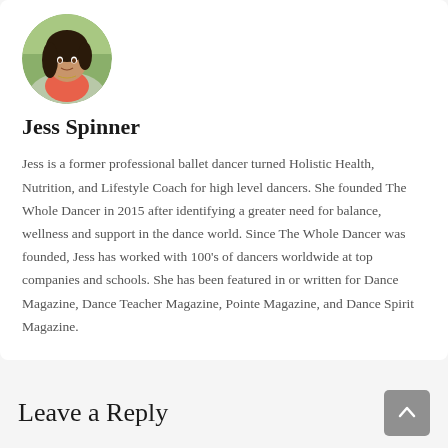[Figure (photo): Circular profile photo of Jess Spinner, a woman with dark hair, wearing a coral/pink top and light jacket, outdoors with greenery in background]
Jess Spinner
Jess is a former professional ballet dancer turned Holistic Health, Nutrition, and Lifestyle Coach for high level dancers. She founded The Whole Dancer in 2015 after identifying a greater need for balance, wellness and support in the dance world. Since The Whole Dancer was founded, Jess has worked with 100's of dancers worldwide at top companies and schools. She has been featured in or written for Dance Magazine, Dance Teacher Magazine, Pointe Magazine, and Dance Spirit Magazine.
Leave a Reply